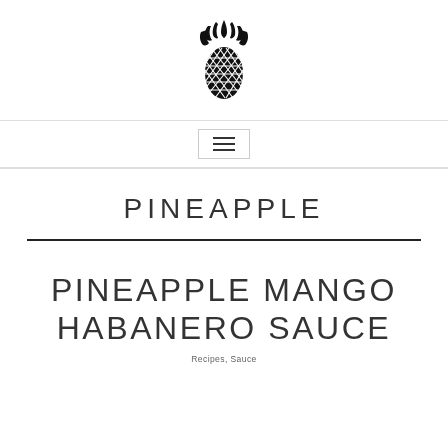[Figure (logo): Black pineapple icon/logo centered at top of page]
☰
PINEAPPLE
PINEAPPLE MANGO HABANERO SAUCE
Recipes, Sauce